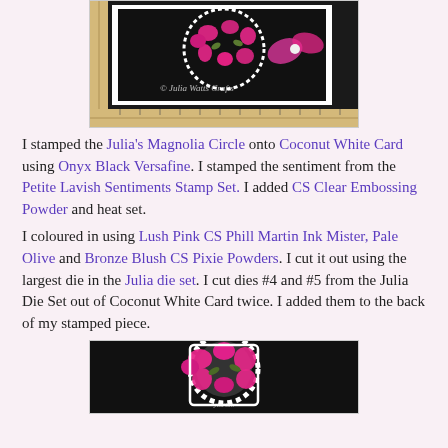[Figure (photo): Craft card with pink magnolia flowers on black background, pink bow, ruler visible, watermark says Julia Watts Crafts]
I stamped the Julia's Magnolia Circle onto Coconut White Card using Onyx Black Versafine. I stamped the sentiment from the Petite Lavish Sentiments Stamp Set. I added CS Clear Embossing Powder and heat set.
I coloured in using Lush Pink CS Phill Martin Ink Mister, Pale Olive and Bronze Blush CS Pixie Powders. I cut it out using the largest die in the Julia die set. I cut dies #4 and #5 from the Julia Die Set out of Coconut White Card twice. I added them to the back of my stamped piece.
[Figure (photo): Close-up of stamped and coloured magnolia circle die cut on dark background]